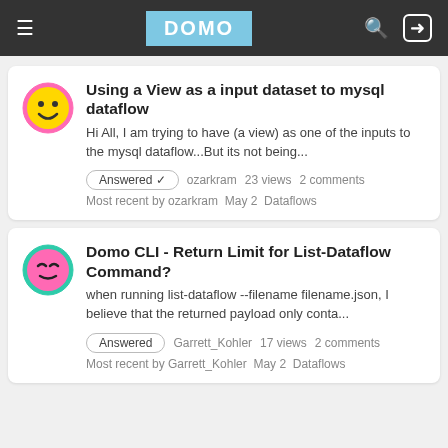DOMO
Using a View as a input dataset to mysql dataflow
Hi All, I am trying to have (a view) as one of the inputs to the mysql dataflow...But its not being...
Answered ✓  ozarkram  23 views  2 comments
Most recent by ozarkram  May 2  Dataflows
Domo CLI - Return Limit for List-Dataflow Command?
when running list-dataflow --filename filename.json, I believe that the returned payload only conta...
Answered  Garrett_Kohler  17 views  2 comments
Most recent by Garrett_Kohler  May 2  Dataflows